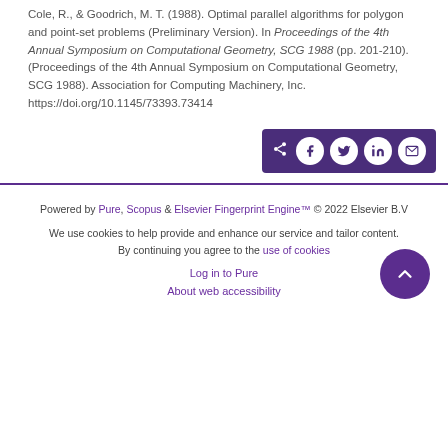Cole, R., & Goodrich, M. T. (1988). Optimal parallel algorithms for polygon and point-set problems (Preliminary Version). In Proceedings of the 4th Annual Symposium on Computational Geometry, SCG 1988 (pp. 201-210). (Proceedings of the 4th Annual Symposium on Computational Geometry, SCG 1988). Association for Computing Machinery, Inc. https://doi.org/10.1145/73393.73414
[Figure (other): Social share buttons bar with icons for share, Facebook, Twitter, LinkedIn, and email on a dark purple background]
Powered by Pure, Scopus & Elsevier Fingerprint Engine™ © 2022 Elsevier B.V
We use cookies to help provide and enhance our service and tailor content. By continuing you agree to the use of cookies
Log in to Pure
About web accessibility